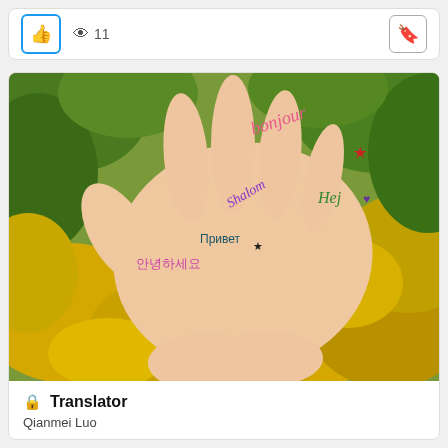[Figure (screenshot): Top bar with thumbs up button, eye icon showing 11 views, and bookmark button on the right]
[Figure (photo): A human hand with many greetings in different languages written on it in colorful ink: Bonjour, Shalom, Hej, Привет, Halle, Hello, Hola, Korean text, Japanese text, aloha, 喔, Ciao, Γεία, Oi!, Thai script, and more, set against a background of autumn yellow and green leaves.]
Translator
Qianmei Luo